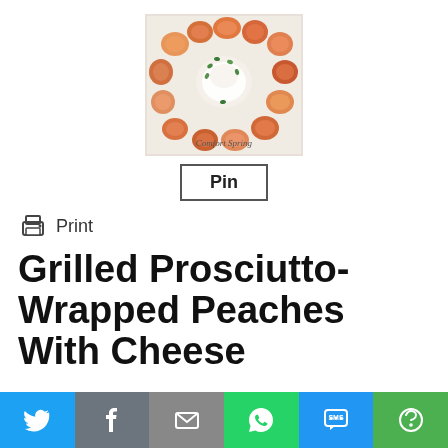[Figure (photo): Photo of grilled prosciutto-wrapped peaches on a white plate with cream cheese and herbs, watermark reads 'Comfort Spring']
Pin
Print
Grilled Prosciutto-Wrapped Peaches With Cheese
[Figure (infographic): Social sharing bar with Twitter, Facebook, Email, WhatsApp, SMS, and More buttons]